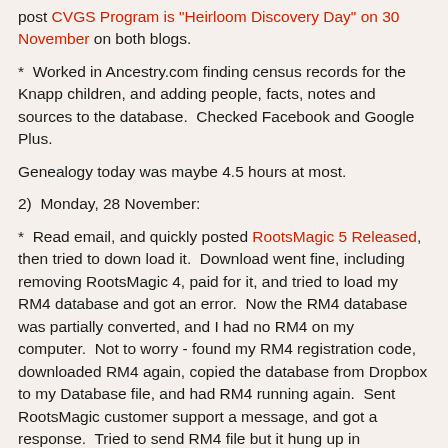post CVGS Program is "Heirloom Discovery Day" on 30 November on both blogs.
*  Worked in Ancestry.com finding census records for the Knapp children, and adding people, facts, notes and sources to the database.  Checked Facebook and Google Plus.
Genealogy today was maybe 4.5 hours at most.
2)  Monday, 28 November:
*  Read email, and quickly posted RootsMagic 5 Released, then tried to down load it.  Download went fine, including removing RootsMagic 4, paid for it, and tried to load my RM4 database and got an error.  Now the RM4 database was partially converted, and I had no RM4 on my computer.  Not to worry - found my RM4 registration code, downloaded RM4 again, copied the database from Dropbox to my Database file, and had RM4 running again.  Sent RootsMagic customer support a message, and got a response.  Tried to send RM4 file but it hung up in transmission.  Drat.